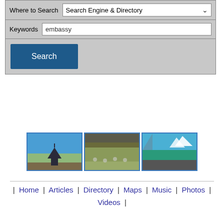[Figure (screenshot): Search form with 'Where to Search' dropdown showing 'Search Engine & Directory', Keywords field with 'embassy', and a Search button]
[Figure (photo): Three thumbnail photos of New Zealand landscapes: a church by a lake, sheep in a field, and a mountain lake scene]
| Home | Articles | Directory | Maps | Music | Photos | Videos |